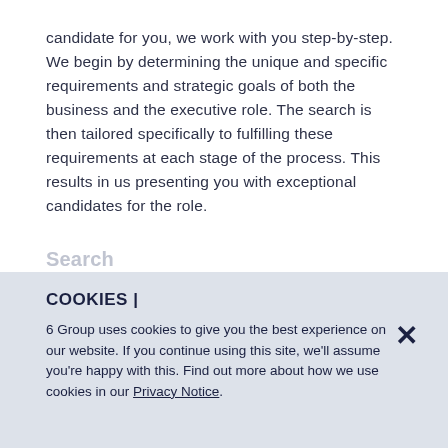candidate for you, we work with you step-by-step. We begin by determining the unique and specific requirements and strategic goals of both the business and the executive role. The search is then tailored specifically to fulfilling these requirements at each stage of the process. This results in us presenting you with exceptional candidates for the role.
Search
COOKIES |
6 Group uses cookies to give you the best experience on our website. If you continue using this site, we'll assume you're happy with this. Find out more about how we use cookies in our Privacy Notice.